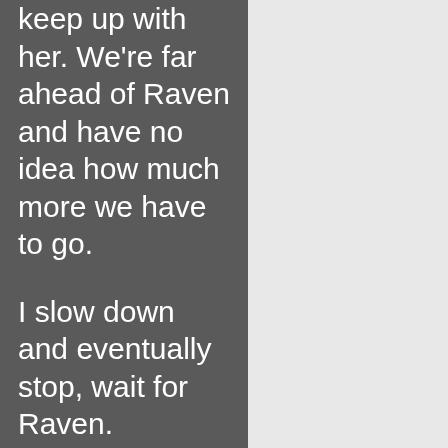keep up with her. We're far ahead of Raven and have no idea how much more we have to go.

I slow down and eventually stop, wait for Raven.

He's running